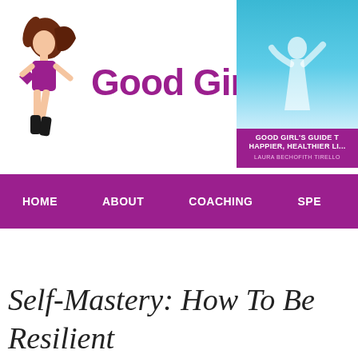[Figure (logo): Good Girls Health logo: stylized woman figure in purple dress with diamond handbag, followed by 'Good Girls Health' text in purple]
[Figure (photo): Book cover: 'Good Girl's Guide to a Happier, Healthier Life' by Laura Bechofith Tirello, showing a woman on a beach with teal sky background and purple banner]
HOME    ABOUT    COACHING    SPE...
Self-Mastery: How To Be Resilient... Workplace